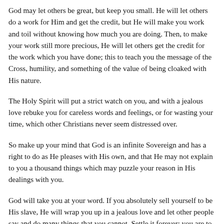God may let others be great, but keep you small. He will let others do a work for Him and get the credit, but He will make you work and toil without knowing how much you are doing. Then, to make your work still more precious, He will let others get the credit for the work which you have done; this to teach you the message of the Cross, humility, and something of the value of being cloaked with His nature.
The Holy Spirit will put a strict watch on you, and with a jealous love rebuke you for careless words and feelings, or for wasting your time, which other Christians never seem distressed over.
So make up your mind that God is an infinite Sovereign and has a right to do as He pleases with His own, and that He may not explain to you a thousand things which may puzzle your reason in His dealings with you.
God will take you at your word. If you absolutely sell yourself to be His slave, He will wrap you up in a jealous love and let other people say and do many things that you cannot. Settle it forever; you are to deal directly with the Holy Spirit, He is to have the privilege of tying your tongue or chaining your hand or closing your eyes in ways which others are not